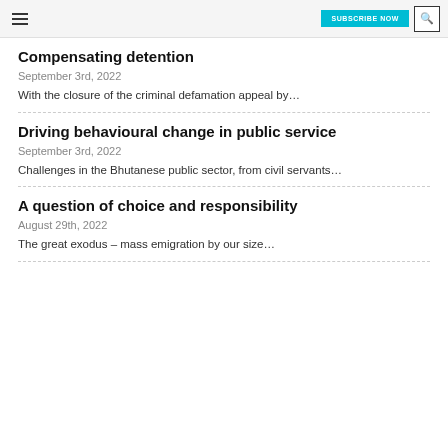SUBSCRIBE NOW
Compensating detention
September 3rd, 2022
With the closure of the criminal defamation appeal by…
Driving behavioural change in public service
September 3rd, 2022
Challenges in the Bhutanese public sector, from civil servants…
A question of choice and responsibility
August 29th, 2022
The great exodus – mass emigration by our size…